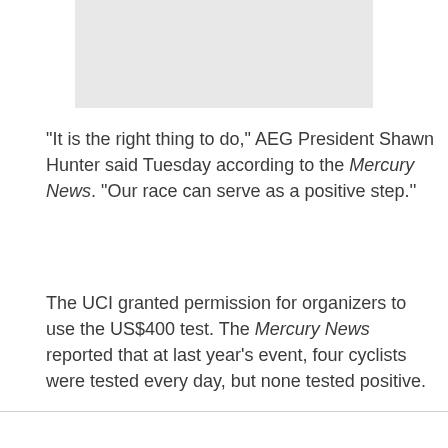[Figure (photo): Gray rectangular image placeholder at top of page]
"It is the right thing to do," AEG President Shawn Hunter said Tuesday according to the Mercury News. "Our race can serve as a positive step.''
The UCI granted permission for organizers to use the US$400 test. The Mercury News reported that at last year's event, four cyclists were tested every day, but none tested positive.